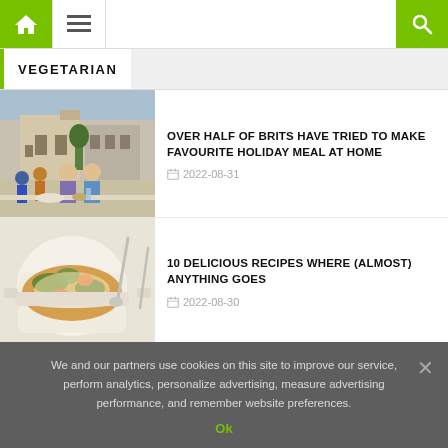Home | Menu | Search — Vegetarian food blog header
VEGETARIAN
OVER HALF OF BRITS HAVE TRIED TO MAKE FAVOURITE HOLIDAY MEAL AT HOME
2022-08-31
10 DELICIOUS RECIPES WHERE (ALMOST) ANYTHING GOES
2022-08-30
We and our partners use cookies on this site to improve our service, perform analytics, personalize advertising, measure advertising performance, and remember website preferences.
Ok